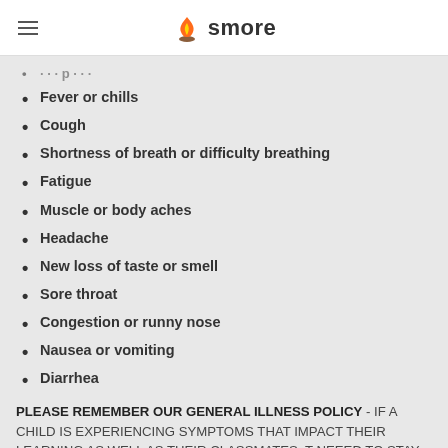smore
Fever or chills
Cough
Shortness of breath or difficulty breathing
Fatigue
Muscle or body aches
Headache
New loss of taste or smell
Sore throat
Congestion or runny nose
Nausea or vomiting
Diarrhea
PLEASE REMEMBER OUR GENERAL ILLNESS POLICY - IF A CHILD IS EXPERIENCING SYMPTOMS THAT IMPACT THEIR LEARNING AS WELL AS THEIR CLASSMATES, THEY NEEED TO STAY HOME UNTIL THEIR SYMPTOMS HAVE IMPROVED REGARDLESS OF TESTING NEGATIVE FOR